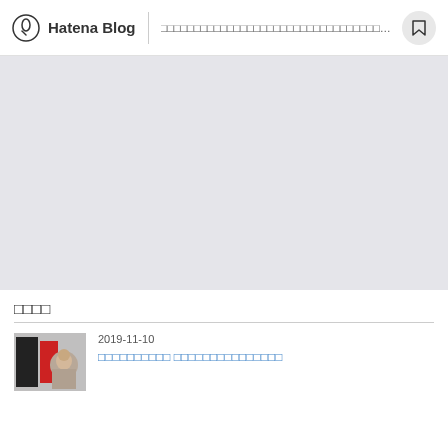Hatena Blog | □□□□□□□□□□□□□□□□□□□□□□□□□□□□□□□□□□□
[Figure (photo): Large light grey hero/banner image area]
□□□□
2019-11-10
□□□□□□□□□□ □□□□□□□□□□□□□□□